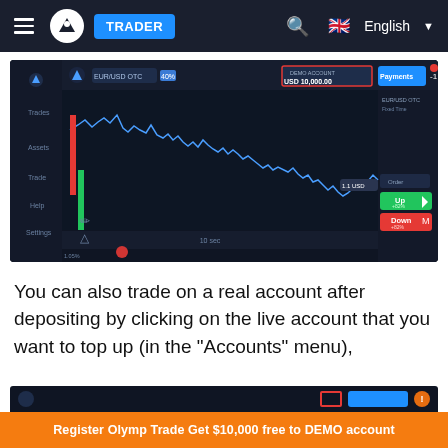TRADER | English
[Figure (screenshot): Olymp Trade platform screenshot showing EUR/USD OTC chart with DEMO ACCOUNT balance of USD 10,000.00 highlighted by a red arrow, with Up and Down trading buttons on the right side panel.]
You can also trade on a real account after depositing by clicking on the live account that you want to top up (in the "Accounts" menu),
[Figure (screenshot): Partial bottom strip of Olymp Trade platform interface.]
Register Olymp Trade Get $10,000 free to DEMO account